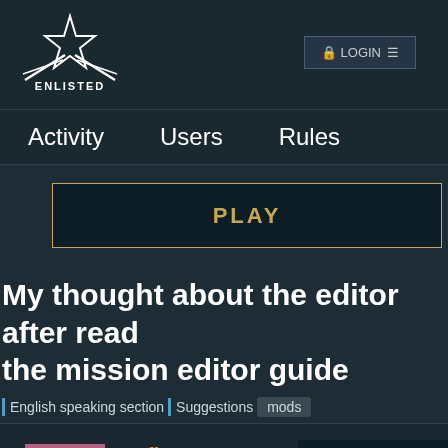[Figure (logo): Enlisted game logo with star and crossed rifles, text ENLISTED below]
Activity   Users   Rules
PLAY
My thought about the editor after read the mission editor guide
English speaking section | Suggestions  mods
sfh0525
Enlisted Tester